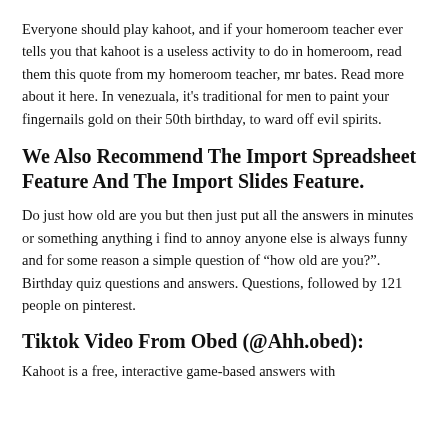Everyone should play kahoot, and if your homeroom teacher ever tells you that kahoot is a useless activity to do in homeroom, read them this quote from my homeroom teacher, mr bates. Read more about it here. In venezuala, it's traditional for men to paint your fingernails gold on their 50th birthday, to ward off evil spirits.
We Also Recommend The Import Spreadsheet Feature And The Import Slides Feature.
Do just how old are you but then just put all the answers in minutes or something anything i find to annoy anyone else is always funny and for some reason a simple question of “how old are you?”. Birthday quiz questions and answers. Questions, followed by 121 people on pinterest.
Tiktok Video From Obed (@Ahh.obed):
Kahoot is a free, interactive game-based answers with...